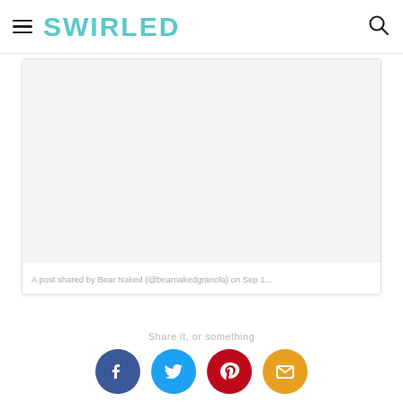SWIRLED
[Figure (screenshot): Embedded social media post from Bear Naked (@bearnakedgranola) showing a light grey placeholder image area]
A post shared by Bear Naked (@bearnakedgranola) on Sep 1...
[Figure (infographic): Social share buttons row: Facebook (dark blue circle), Twitter (light blue circle), Pinterest (red circle), Email (orange/yellow circle)]